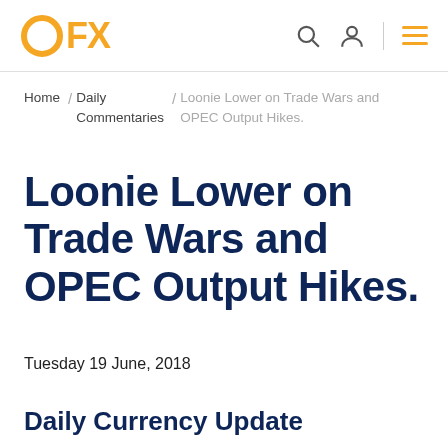OFX
Home / Daily Commentaries / Loonie Lower on Trade Wars and OPEC Output Hikes.
Loonie Lower on Trade Wars and OPEC Output Hikes.
Tuesday 19 June, 2018
Daily Currency Update